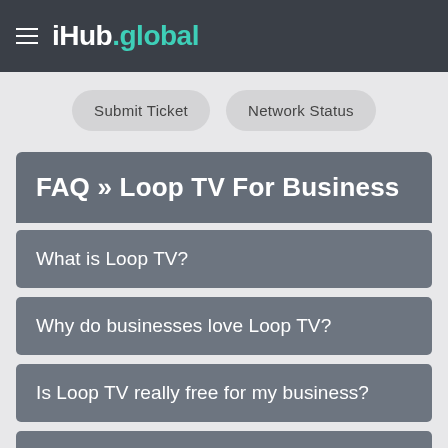iHub.global
Submit Ticket
Network Status
FAQ » Loop TV For Business
What is Loop TV?
Why do businesses love Loop TV?
Is Loop TV really free for my business?
What kind of businesses qualify to get Loop TV is their an approval process?